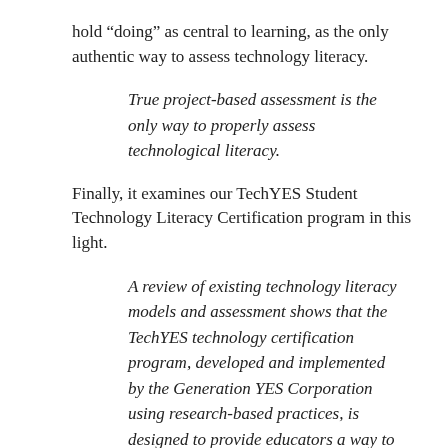hold “doing” as central to learning, as the only authentic way to assess technology literacy.
True project-based assessment is the only way to properly assess technological literacy.
Finally, it examines our TechYES Student Technology Literacy Certification program in this light.
A review of existing technology literacy models and assessment shows that the TechYES technology certification program, developed and implemented by the Generation YES Corporation using research-based practices, is designed to provide educators a way to allow students to participate in authentic, project-based learning activities that reflect essential digital literacies. The TechYES program includes an excellent,